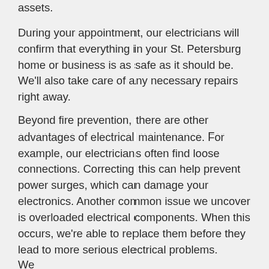assets.
During your appointment, our electricians will confirm that everything in your St. Petersburg home or business is as safe as it should be. We'll also take care of any necessary repairs right away.
Beyond fire prevention, there are other advantages of electrical maintenance. For example, our electricians often find loose connections. Correcting this can help prevent power surges, which can damage your electronics. Another common issue we uncover is overloaded electrical components. When this occurs, we're able to replace them before they lead to more serious electrical problems.
We...